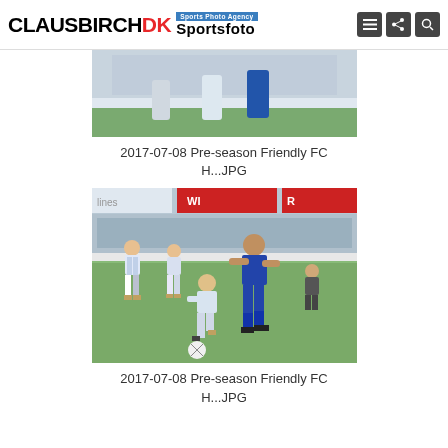CLAUSBIRCHDK Sportsfoto — Sports Photo Agency
[Figure (photo): Partial view of a football/soccer match action photo, top portion visible]
2017-07-08 Pre-season Friendly FC H...JPG
[Figure (photo): Football/soccer match action photo showing players in a tackle — one player in blue kit, others in light blue/white striped kit, on a grass pitch with stadium advertising boards in background]
2017-07-08 Pre-season Friendly FC H...JPG